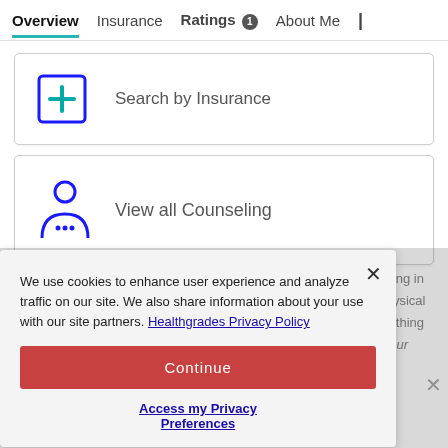Overview | Insurance | Ratings 1 | About Me | ...
[Figure (screenshot): Search by Insurance card with a teal medical cross icon in a blue square border]
Search by Insurance
[Figure (screenshot): View all Counseling card with a blue person/counseling icon]
View all Counseling
We use cookies to enhance user experience and analyze traffic on our site. We also share information about your use with our site partners. Healthgrades Privacy Policy
Continue
Access my Privacy Preferences